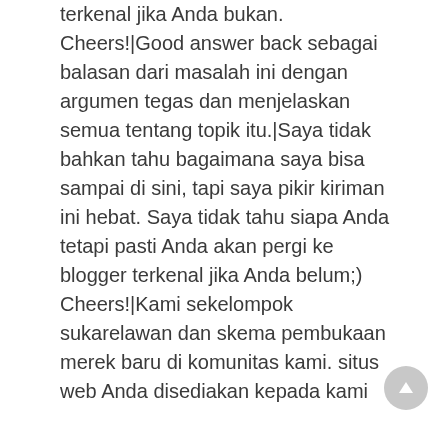terkenal jika Anda bukan. Cheers!|Good answer back sebagai balasan dari masalah ini dengan argumen tegas dan menjelaskan semua tentang topik itu.|Saya tidak bahkan tahu bagaimana saya bisa sampai di sini, tapi saya pikir kiriman ini hebat. Saya tidak tahu siapa Anda tetapi pasti Anda akan pergi ke blogger terkenal jika Anda belum;) Cheers!|Kami sekelompok sukarelawan dan skema pembukaan merek baru di komunitas kami. situs web Anda disediakan kepada kami